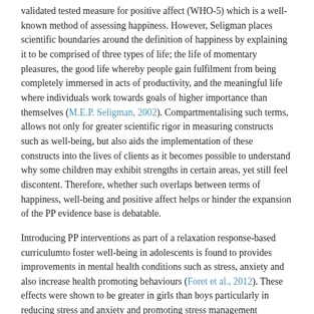validated tested measure for positive affect (WHO-5) which is a well-known method of assessing happiness. However, Seligman places scientific boundaries around the definition of happiness by explaining it to be comprised of three types of life; the life of momentary pleasures, the good life whereby people gain fulfilment from being completely immersed in acts of productivity, and the meaningful life where individuals work towards goals of higher importance than themselves (M.E.P. Seligman, 2002). Compartmentalising such terms, allows not only for greater scientific rigor in measuring constructs such as well-being, but also aids the implementation of these constructs into the lives of clients as it becomes possible to understand why some children may exhibit strengths in certain areas, yet still feel discontent. Therefore, whether such overlaps between terms of happiness, well-being and positive affect helps or hinder the expansion of the PP evidence base is debatable.
Introducing PP interventions as part of a relaxation response-based curriculumto foster well-being in adolescents is found to provides improvements in mental health conditions such as stress, anxiety and also increase health promoting behaviours (Foret et al., 2012). These effects were shown to be greater in girls than boys particularly in reducing stress and anxiety and promoting stress management behaviours. Hypotheses of the reasoning for this are not given, however such discrepancy does point towards a need for further exploration of this area of adolescent well-being.